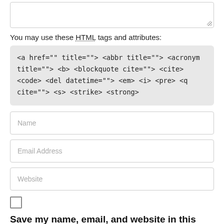You may use these HTML tags and attributes:
<a href="" title=""> <abbr title=""> <acronym title=""> <b> <blockquote cite=""> <cite> <code> <del datetime=""> <em> <i> <pre> <q cite=""> <s> <strike> <strong>
Name
Email Address
Website
Save my name, email, and website in this browser for the next time I comment.